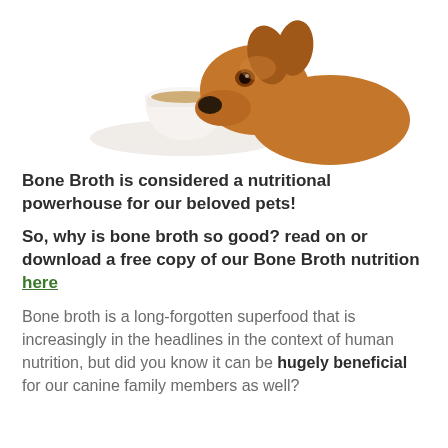[Figure (photo): A photo of a dachshund dog sniffing a white teacup and saucer filled with broth, on a white background.]
Bone Broth is considered a nutritional powerhouse for our beloved pets!
So, why is bone broth so good? read on or download a free copy of our Bone Broth nutrition here
Bone broth is a long-forgotten superfood that is increasingly in the headlines in the context of human nutrition, but did you know it can be hugely beneficial for our canine family members as well?